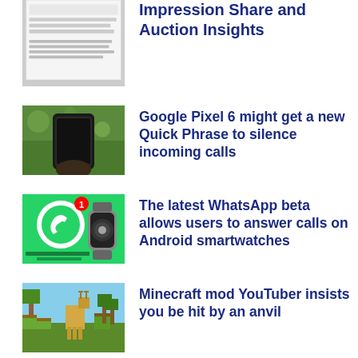[Figure (screenshot): Partial screenshot of a Google Ads issue notice about Impression Share and Auction Insights]
Impression Share and Auction Insights
[Figure (photo): Hand holding a Google Pixel 6 smartphone against a green grass background]
Google Pixel 6 might get a new Quick Phrase to silence incoming calls
[Figure (screenshot): WhatsApp logo with notification badge and a smartwatch, with text 'Answer WhatsApp calls on smartwatch is now possible']
The latest WhatsApp beta allows users to answer calls on Android smartwatches
[Figure (screenshot): Minecraft game scene with a deer-like creature in a green landscape]
Minecraft mod YouTuber insists you be hit by an anvil
[Figure (screenshot): Partial screenshot of Twitch interface]
Twitch Notifications not working